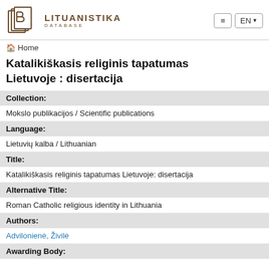Lituanistika Database
Home
Katalikiškasis religinis tapatumas Lietuvoje : disertacija
| Field | Value |
| --- | --- |
| Collection: | Mokslo publikacijos / Scientific publications |
| Language: | Lietuvių kalba / Lithuanian |
| Title: | Katalikiškasis religinis tapatumas Lietuvoje: disertacija |
| Alternative Title: | Roman Catholic religious identity in Lithuania |
| Authors: | Advilonienė, Živilė |
| Awarding Body: |  |